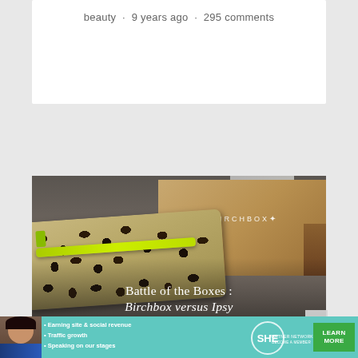beauty · 9 years ago · 295 comments
[Figure (photo): Photo of a Birchbox cardboard box and a leopard print cosmetics bag with neon yellow zipper, with overlay text 'Battle of the Boxes : Birchbox versus Ipsy']
Battle of the Boxes : Birchbox versus Ipsy
[Figure (infographic): SHE Partner Network advertisement banner with woman avatar, bullet points about earning site & social revenue, traffic growth, speaking on stages, SHE Partner Network logo and LEARN MORE button]